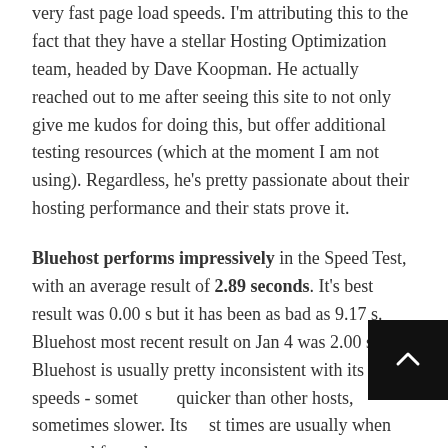very fast page load speeds. I'm attributing this to the fact that they have a stellar Hosting Optimization team, headed by Dave Koopman. He actually reached out to me after seeing this site to not only give me kudos for doing this, but offer additional testing resources (which at the moment I am not using). Regardless, he's pretty passionate about their hosting performance and their stats prove it.
Bluehost performs impressively in the Speed Test, with an average result of 2.89 seconds. It's best result was 0.00 s but it has been as bad as 9.17 s. Bluehost most recent result on Jan 4 was 2.00 s. Bluehost is usually pretty inconsistent with its page speeds - sometimes quicker than other hosts, sometimes slower. Its best times are usually when accessed from the east coast.